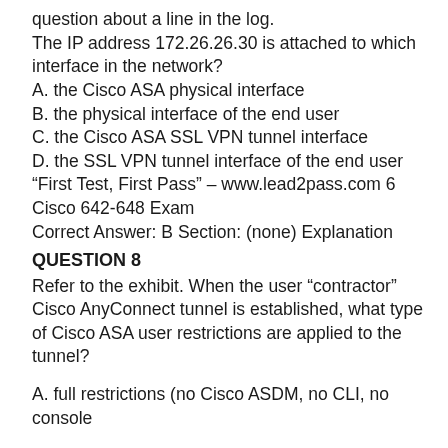question about a line in the log.
The IP address 172.26.26.30 is attached to which interface in the network?
A. the Cisco ASA physical interface
B. the physical interface of the end user
C. the Cisco ASA SSL VPN tunnel interface
D. the SSL VPN tunnel interface of the end user “First Test, First Pass” – www.lead2pass.com 6 Cisco 642-648 Exam
Correct Answer: B Section: (none) Explanation
QUESTION 8
Refer to the exhibit. When the user “contractor” Cisco AnyConnect tunnel is established, what type of Cisco ASA user restrictions are applied to the tunnel?
A. full restrictions (no Cisco ASDM, no CLI, no console